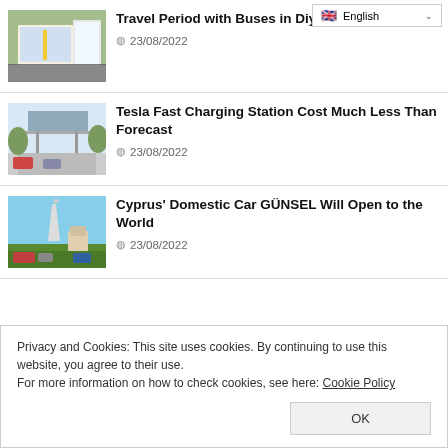[Figure (screenshot): English language selector dropdown UI element]
[Figure (photo): Bus interior or transit stop photo]
Travel Period with Buses in Diyarbakır
23/08/2022
[Figure (photo): Tesla fast charging station with solar canopy]
Tesla Fast Charging Station Cost Much Less Than Forecast
23/08/2022
[Figure (photo): Cyprus GÜNSEL domestic electric car at outdoor venue]
Cyprus' Domestic Car GÜNSEL Will Open to the World
23/08/2022
Privacy and Cookies: This site uses cookies. By continuing to use this website, you agree to their use.
For more information on how to check cookies, see here: Cookie Policy